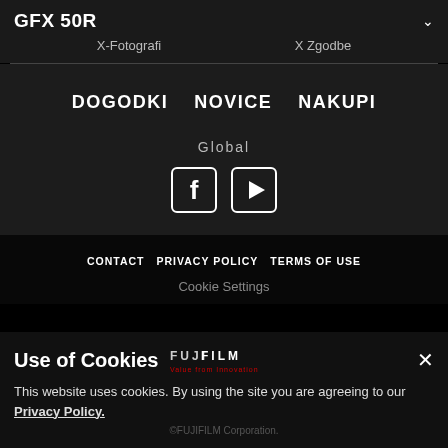GFX 50R
X-Fotografi   X Zgodbe
DOGODKI   NOVICE   NAKUPI
Global
[Figure (logo): Facebook icon (white F on dark square with rounded corners) and YouTube play button icon (white triangle in dark rounded square)]
CONTACT   PRIVACY POLICY   TERMS OF USE
Cookie Settings
Use of Cookies
[Figure (logo): FUJIFILM logo with 'Value from Innovation' tagline in red]
This website uses cookies. By using the site you are agreeing to our Privacy Policy.
©FUJIFILM Corporation.